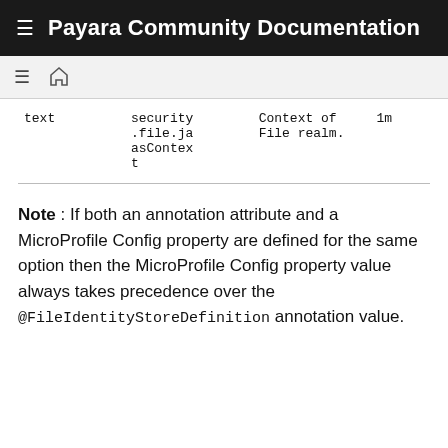Payara Community Documentation
| text | security
.file.ja
asContex
t | Context of
File realm. | 1m |
Note : If both an annotation attribute and a MicroProfile Config property are defined for the same option then the MicroProfile Config property value always takes precedence over the @FileIdentityStoreDefinition annotation value.